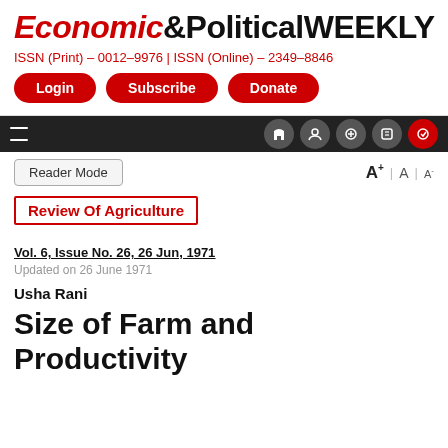Economic&Political WEEKLY
ISSN (Print) - 0012-9976 | ISSN (Online) - 2349-8846
Login   Subscribe   Donate
Reader Mode   A+  |  A  |  A-
Review Of Agriculture
Vol. 6, Issue No. 26, 26 Jun, 1971
Updated on 26 June 1971
Usha Rani
Size of Farm and Productivity